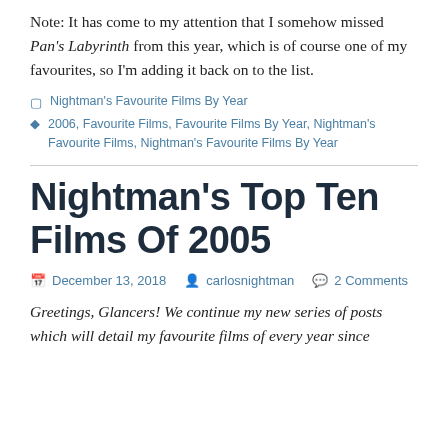Note: It has come to my attention that I somehow missed Pan's Labyrinth from this year, which is of course one of my favourites, so I'm adding it back on to the list.
Nightman's Favourite Films By Year | 2006, Favourite Films, Favourite Films By Year, Nightman's Favourite Films, Nightman's Favourite Films By Year
Nightman's Top Ten Films Of 2005
December 13, 2018  carlosnightman  2 Comments
Greetings, Glancers! We continue my new series of posts which will detail my favourite films of every year since